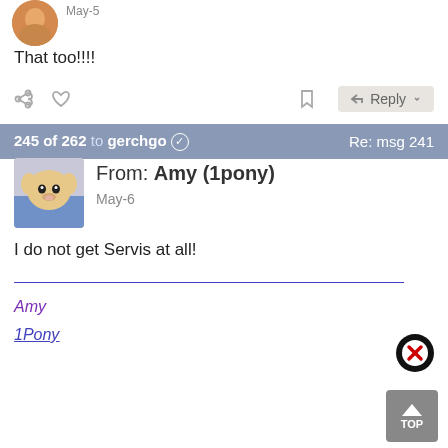[Figure (photo): User avatar - orange/brown circle avatar at top]
May-5
That too!!!!
[Figure (infographic): Action bar with share, like, bookmark, and Reply button icons]
245 of 262 to gerchgo  Re: msg 241
[Figure (photo): User avatar photo of a small dog (Corgi/Chihuahua mix) held by a person]
From: Amy (1pony)
May-6
I do not get Servis at all!
Amy
1Pony
[Figure (infographic): Close/X button circle icon (black with X)]
[Figure (infographic): TOP scroll-to-top button]